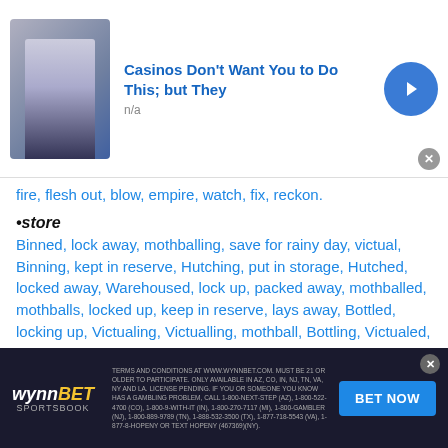[Figure (other): Top advertisement banner: casino/gambling ad titled 'Casinos Don't Want You to Do This; but They' with a person image, n/a subtitle, arrow button and close button]
fire, flesh out, blow, empire, watch, fix, reckon.
•store
Binned, lock away, mothballing, save for rainy day, victual, Binning, kept in reserve, Hutching, put in storage, Hutched, locked away, Warehoused, lock up, packed away, mothballed, mothballs, locked up, keep in reserve, lays away, Bottled, locking up, Victualing, Victualling, mothball, Bottling, Victualed, pack away, warehousing.
•Other relevant words (noun):
convene, gain, put away, pile, realize, fit, Leagued, meet, fulfill, rack up, meeting, learn, bank, harvest, forgather, guess, accrete, acquire, see, mound, assembled.
[Figure (other): WynnBET Sportsbook advertisement banner at bottom with terms and conditions text and BET NOW button]